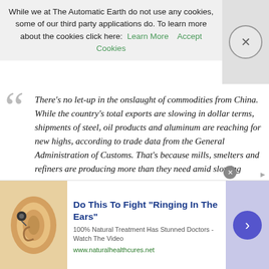While we at The Automatic Earth do not use any cookies, some of our third party applications do. To learn more about the cookies click here: Learn More   Accept Cookies
There’s no let-up in the onslaught of commodities from China. While the country’s total exports are slowing in dollar terms, shipments of steel, oil products and aluminum are reaching for new highs, according to trade data from the General Administration of Customs. That's because mills, smelters and refiners are producing more than they need amid slowing domestic demand, and shipping the excess overseas. The flood is compounding a worldwide surplus of commodities that’s driven returns from raw materials to the lowest since 1999, threatening producers from India to Pennsylvania and aggravating trade disputes. While companies such as India’s JSW Steel decry cheap exports as unfair, China says the overcapacity is a
[Figure (infographic): Advertisement for hearing treatment: 'Do This To Fight "Ringing In The Ears"' with ear illustration, subtitle '100% Natural Treatment Has Stunned Doctors - Watch The Video', URL www.naturalhealthcures.net, and a blue arrow button.]